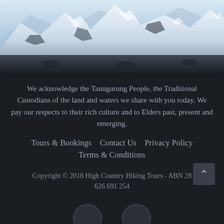[Figure (photo): Aerial view of snow-covered mountain peaks with rocky outcroppings, blue-white winter landscape]
We acknowledge the Taungurung People, the Traditional Custodians of the land and waters we share with you today. We pay our respects to their rich culture and to Elders past, present and emerging.
Tours & Bookings    Contact Us    Privacy Policy
Terms & Conditions
Copyright © 2018 High Country Hiking Tours - ABN 28 626 691 254